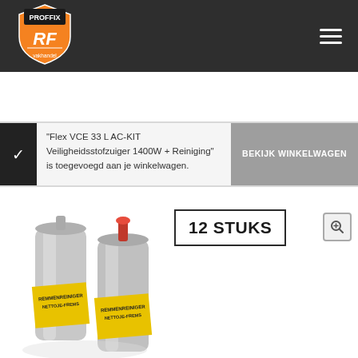[Figure (logo): PROFFIX Vakhandel logo — orange shield with 'RF' initials and 'vakhandel' text]
"Flex VCE 33 L AC-KIT Veiligheidsstofzuiger 1400W + Reiniging" is toegevoegd aan je winkelwagen.
BEKIJK WINKELWAGEN
12 STUKS
[Figure (photo): Two silver aerosol spray cans labeled 'REMMENREINIGER NETTOJE-FREMS' on a white background]